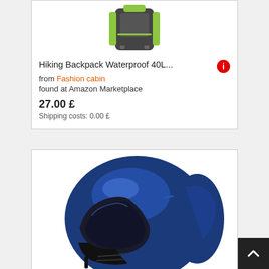[Figure (photo): Hiking backpack, green and grey/black, viewed from the back, showing straps and back panel. Capacity 40L label visible.]
Hiking Backpack Waterproof 40L...
from Fashion cabin
found at Amazon Marketplace
27.00 £
Shipping costs: 0.00 £
[Figure (photo): Blue metallic motorcycle helmet viewed from the side, modular/flip-up style with dark visor.]